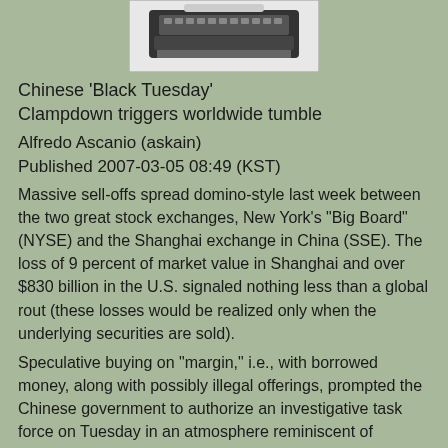[Figure (photo): Black and white photo of a typewriter, partially cropped at top]
Chinese 'Black Tuesday'
Clampdown triggers worldwide tumble
Alfredo Ascanio (askain)
Published 2007-03-05 08:49 (KST)
Massive sell-offs spread domino-style last week between the two great stock exchanges, New York's "Big Board" (NYSE) and the Shanghai exchange in China (SSE). The loss of 9 percent of market value in Shanghai and over $830 billion in the U.S. signaled nothing less than a global rout (these losses would be realized only when the underlying securities are sold).
Speculative buying on "margin," i.e., with borrowed money, along with possibly illegal offerings, prompted the Chinese government to authorize an investigative task force on Tuesday in an atmosphere reminiscent of October, 1929, on